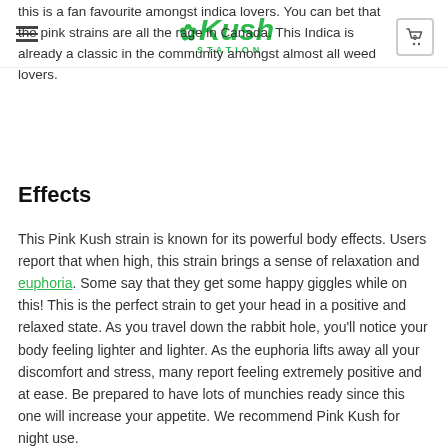Kush Station — navigation header with logo and cart
this is a fan favourite amongst indica lovers. You can bet that the pink strains are all the rage in Canada. This Indica is already a classic in the community amongst almost all weed lovers.
Effects
This Pink Kush strain is known for its powerful body effects. Users report that when high, this strain brings a sense of relaxation and euphoria. Some say that they get some happy giggles while on this! This is the perfect strain to get your head in a positive and relaxed state. As you travel down the rabbit hole, you'll notice your body feeling lighter and lighter. As the euphoria lifts away all your discomfort and stress, many report feeling extremely positive and at ease. Be prepared to have lots of munchies ready since this one will increase your appetite. We recommend Pink Kush for night use.